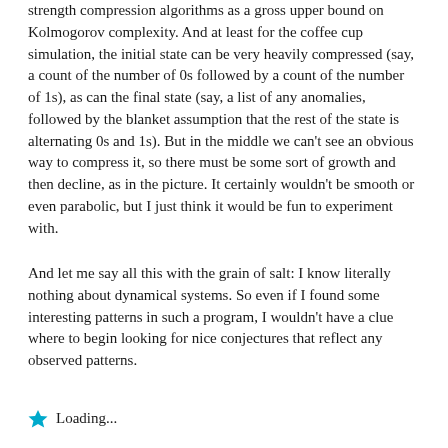strength compression algorithms as a gross upper bound on Kolmogorov complexity. And at least for the coffee cup simulation, the initial state can be very heavily compressed (say, a count of the number of 0s followed by a count of the number of 1s), as can the final state (say, a list of any anomalies, followed by the blanket assumption that the rest of the state is alternating 0s and 1s). But in the middle we can't see an obvious way to compress it, so there must be some sort of growth and then decline, as in the picture. It certainly wouldn't be smooth or even parabolic, but I just think it would be fun to experiment with.
And let me say all this with the grain of salt: I know literally nothing about dynamical systems. So even if I found some interesting patterns in such a program, I wouldn't have a clue where to begin looking for nice conjectures that reflect any observed patterns.
Loading...